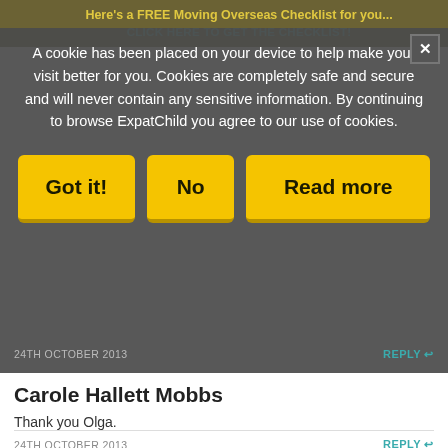A cookie has been placed on your device to help make your visit better for you. Cookies are completely safe and secure and will never contain any sensitive information. By continuing to browse ExpatChild you agree to our use of cookies.
[Figure (screenshot): Cookie consent dialog with three yellow buttons: Got it!, No, Read more]
24TH OCTOBER 2013   REPLY
Carole Hallett Mobbs
Thank you Olga.
24TH OCTOBER 2013   REPLY
Jennifer
It's very brave (and I imagine, difficult) to share your daughter's story. I would like to share with you that I self-harmed as a tween and teenager, and through counseling, meditation, and a process of maturing, I grew away from this tendency and was never a complete child of fear or it.